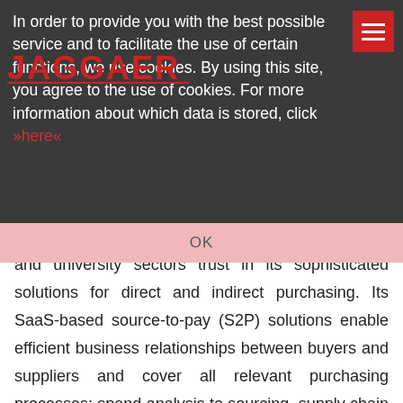In order to provide you with the best possible service and to facilitate the use of certain functions, we use cookies. By using this site, you agree to the use of cookies. For more information about which data is stored, click »here«
OK
engineering, series production, medical technology and university sectors trust in its sophisticated solutions for direct and indirect purchasing. Its SaaS-based source-to-pay (S2P) solutions enable efficient business relationships between buyers and suppliers and cover all relevant purchasing processes: spend analysis to sourcing, supply chain management (SCM), and contract and supplier management (SRM) – all done digitally. While now a large company with office locations all over the word, JAGGAER still attaches great importance to direct, open communication, a flat hierarchy and